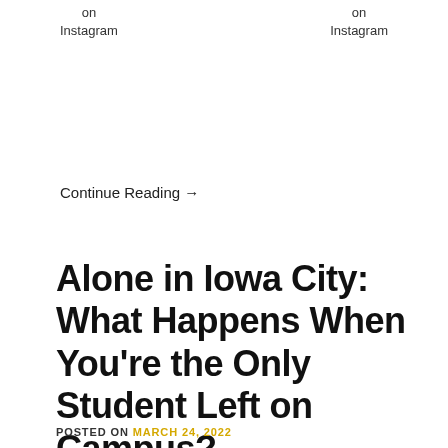on
Instagram
on
Instagram
Continue Reading →
Alone in Iowa City: What Happens When You're the Only Student Left on Campus?
POSTED ON MARCH 24, 2022